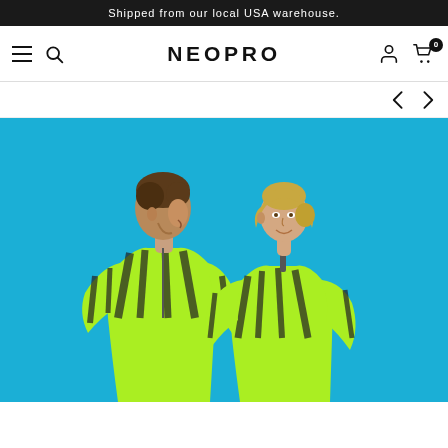Shipped from our local USA warehouse.
[Figure (logo): NEOPRO brand logo in navigation bar with hamburger menu, search icon, user icon, and cart icon with 0 badge]
[Figure (photo): Two cyclists, a man and a woman, wearing bright neon green/yellow long-sleeve cycling jerseys with black diagonal stripe pattern, standing against a bright blue background, smiling at each other]